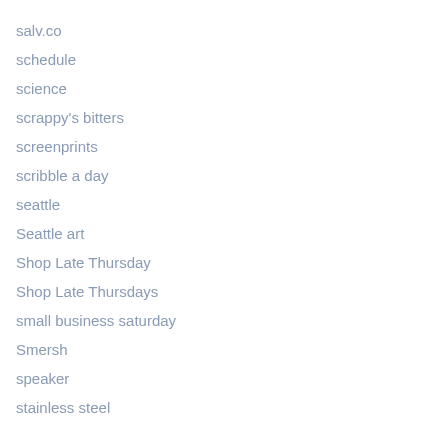salv.co
schedule
science
scrappy's bitters
screenprints
scribble a day
seattle
Seattle art
Shop Late Thursday
Shop Late Thursdays
small business saturday
Smersh
speaker
stainless steel